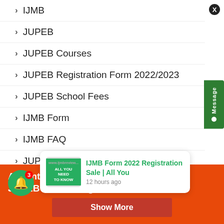IJMB
JUPEB
JUPEB Courses
JUPEB Registration Form 2022/2023
JUPEB School Fees
IJMB Form
IJMB FAQ
JUPEB FAQ
JUPEB Form
Advantages of Registering for IJMB & JUPEB 20... through...
[Figure (screenshot): Notification popup card: IJMB Form 2022 Registration Sale | All You — 12 hours ago, with thumbnail showing green book cover]
Show More